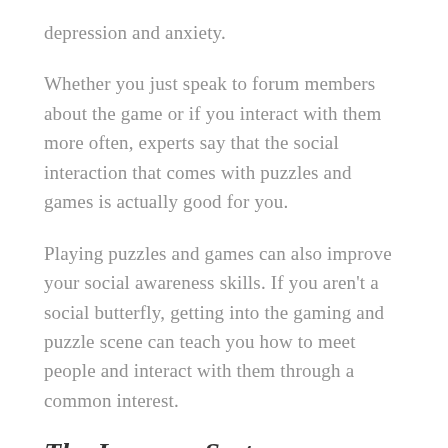depression and anxiety.
Whether you just speak to forum members about the game or if you interact with them more often, experts say that the social interaction that comes with puzzles and games is actually good for you.
Playing puzzles and games can also improve your social awareness skills. If you aren't a social butterfly, getting into the gaming and puzzle scene can teach you how to meet people and interact with them through a common interest.
The Immune System
According to several university studies on the topic